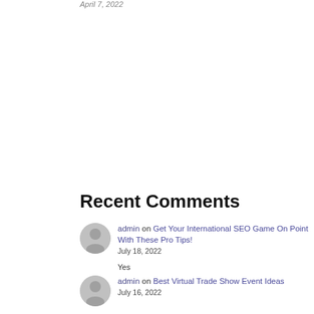April 7, 2022
Recent Comments
admin on Get Your International SEO Game On Point With These Pro Tips! July 18, 2022 Yes
admin on Best Virtual Trade Show Event Ideas July 16, 2022